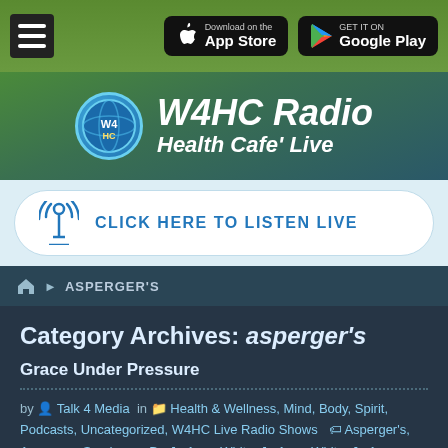[Figure (screenshot): Top navigation bar with hamburger menu, App Store and Google Play download buttons on green gradient background]
[Figure (logo): W4HC Radio Health Cafe Live logo with globe icon on green-to-teal gradient background]
[Figure (other): Click Here To Listen Live button with antenna/radio tower icon on light blue background]
ASPERGER'S
Category Archives: asperger's
Grace Under Pressure
by Talk 4 Media in Health & Wellness, Mind, Body, Spirit, Podcasts, Uncategorized, W4HC Live Radio Shows Asperger's, Aspergers Syndrome, Dr. Jo Anne White, Jo Anne White, Jo Anne White PhD, Power Your LIFe, Power Your LIFe Radio, Power Your LIFe Talk Radio, Running, Sophie